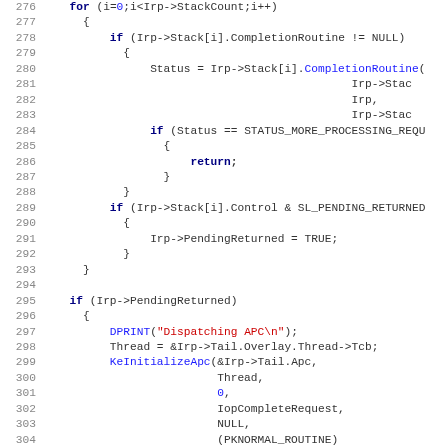[Figure (screenshot): Source code listing (C/C++) showing lines 276-307 of a Windows kernel IRP completion routine. Code shows a for loop iterating over IRP stack locations, calling CompletionRoutine, checking STATUS_MORE_PROCESSING_REQUIRED, handling SL_PENDING_RETURNED, and initializing an APC with KeInitializeApc.]